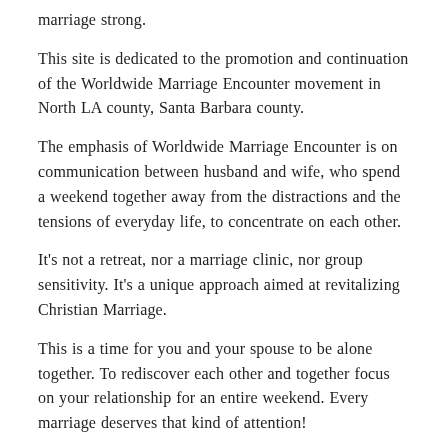marriage strong.
This site is dedicated to the promotion and continuation of the Worldwide Marriage Encounter movement in North LA county, Santa Barbara county.
The emphasis of Worldwide Marriage Encounter is on communication between husband and wife, who spend a weekend together away from the distractions and the tensions of everyday life, to concentrate on each other.
It's not a retreat, nor a marriage clinic, nor group sensitivity. It's a unique approach aimed at revitalizing Christian Marriage.
This is a time for you and your spouse to be alone together. To rediscover each other and together focus on your relationship for an entire weekend. Every marriage deserves that kind of attention!